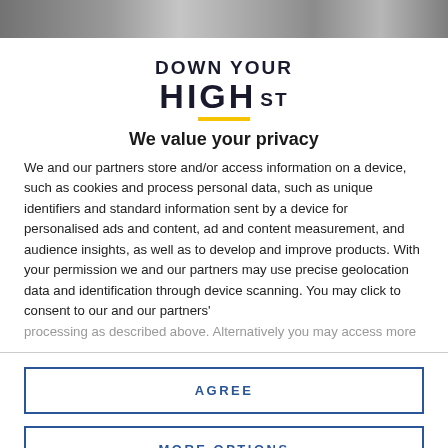[Figure (photo): Blurred street or cityscape background image banner at top of page]
DOWN YOUR HIGH ST
We value your privacy
We and our partners store and/or access information on a device, such as cookies and process personal data, such as unique identifiers and standard information sent by a device for personalised ads and content, ad and content measurement, and audience insights, as well as to develop and improve products. With your permission we and our partners may use precise geolocation data and identification through device scanning. You may click to consent to our and our partners' processing as described above. Alternatively you may access more
AGREE
MORE OPTIONS